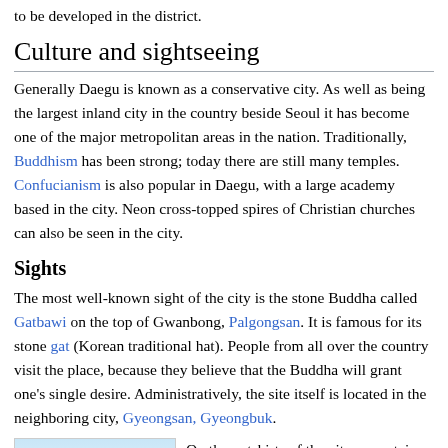to be developed in the district.
Culture and sightseeing
Generally Daegu is known as a conservative city. As well as being the largest inland city in the country beside Seoul it has become one of the major metropolitan areas in the nation. Traditionally, Buddhism has been strong; today there are still many temples. Confucianism is also popular in Daegu, with a large academy based in the city. Neon cross-topped spires of Christian churches can also be seen in the city.
Sights
The most well-known sight of the city is the stone Buddha called Gatbawi on the top of Gwanbong, Palgongsan. It is famous for its stone gat (Korean traditional hat). People from all over the country visit the place, because they believe that the Buddha will grant one's single desire. Administratively, the site itself is located in the neighboring city, Gyeongsan, Gyeongbuk.
[Figure (photo): Photo of mountainous or outdoor scenery near Daegu]
On the outskirts of the city, mountains keep many